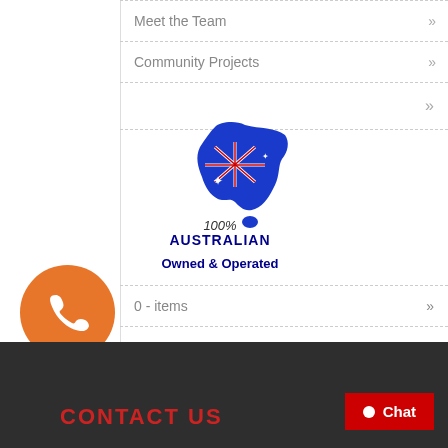Meet the Team »
Community Projects »
»
[Figure (logo): 100% Australian Owned & Operated logo with map of Australia in blue with flag overlay]
0 - items »
[Figure (illustration): Orange circular phone call button]
CONTACT US
Chat